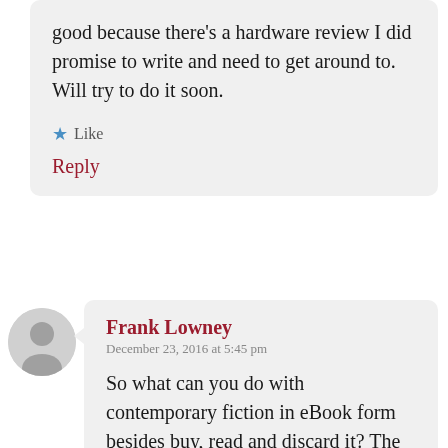good because there's a hardware review I did promise to write and need to get around to. Will try to do it soon.
★ Like
Reply
Frank Lowney
December 23, 2016 at 5:45 pm
So what can you do with contemporary fiction in eBook form besides buy, read and discard it? The need to generate income begets DRM and DRM